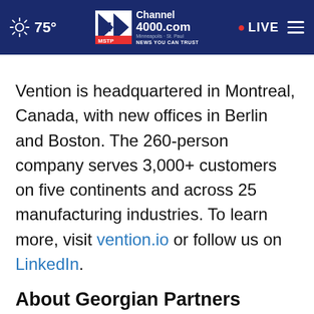75° Channel 4000.com Minneapolis · St. Paul NEWS YOU CAN TRUST · LIVE
Vention is headquartered in Montreal, Canada, with new offices in Berlin and Boston. The 260-person company serves 3,000+ customers on five continents and across 25 manufacturing industries. To learn more, visit vention.io or follow us on LinkedIn.
About Georgian Partners
Georgian is building a platform to identify and accelerate the best growth-stage software companies. Georgian believes that a digital